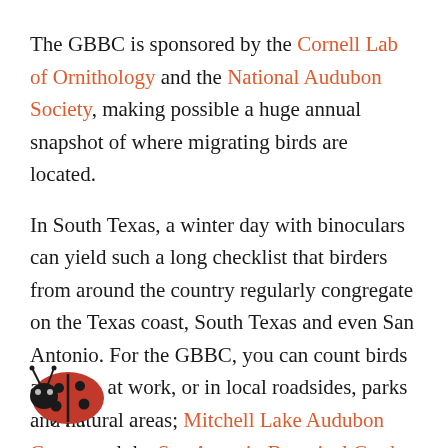The GBBC is sponsored by the Cornell Lab of Ornithology and the National Audubon Society, making possible a huge annual snapshot of where migrating birds are located.
In South Texas, a winter day with binoculars can yield such a long checklist that birders from around the country regularly congregate on the Texas coast, South Texas and even San Antonio. For the GBBC, you can count birds at home, at work, or in local roadsides, parks and natural areas; Mitchell Lake Audubon Center and the San Antonio Botanical Garden are both great spots to get started. If you find birdwatching addictive — and Cornell is hoping you will — ou can submit multiple checklists.
[Figure (photo): Ladybug photo in bottom-left corner, partially overlapping the last line of text]